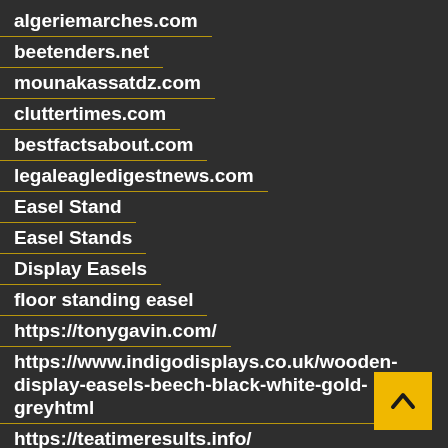algeriemarches.com
beetenders.net
mounakassatdz.com
cluttertimes.com
bestfactsabout.com
legaleagledigestnews.com
Easel Stand
Easel Stands
Display Easels
floor standing easel
https://tonygavin.com/
https://www.indigodisplays.co.uk/wooden-display-easels-beech-black-white-gold-greyhtml
https://teatimeresults.info/
https://lotterysambad.in/
https://dailystandardnews.co.uk
https://www.extensivemedia.net/
https://qr.net/